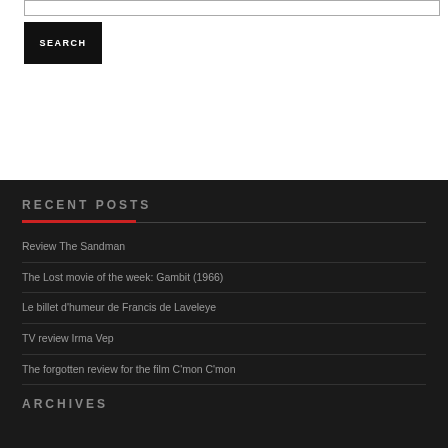[Figure (screenshot): Search input bar at top of page]
[Figure (screenshot): Black SEARCH button]
RECENT POSTS
Review The Sandman
The Lost movie of the week: Gambit (1966)
Le billet d'humeur de Francis de Laveleye
TV review Irma Vep
The forgotten review for the film C'mon C'mon
ARCHIVES